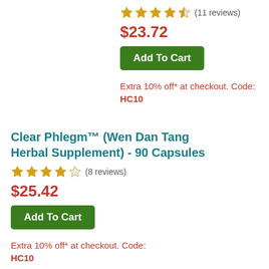★★★★½ (11 reviews)
$23.72
Add To Cart
Extra 10% off* at checkout. Code: HC10
Clear Phlegm™ (Wen Dan Tang Herbal Supplement) - 90 Capsules
★★★★☆ (8 reviews)
$25.42
Add To Cart
Extra 10% off* at checkout. Code: HC10
Collagenex 2™ (Collagen Support Dietary Supplement) - 9...